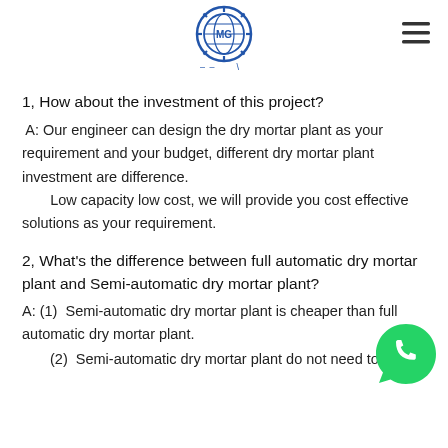MG logo and navigation
1, How about the investment of this project?
A: Our engineer can design the dry mortar plant as your requirement and your budget, different dry mortar plant investment are difference.
        Low capacity low cost, we will provide you cost effective solutions as your requirement.
2, What's the difference between full automatic dry mortar plant and Semi-automatic dry mortar plant?
A: (1)  Semi-automatic dry mortar plant is cheaper than full automatic dry mortar plant.
(2)  Semi-automatic dry mortar plant do not need to